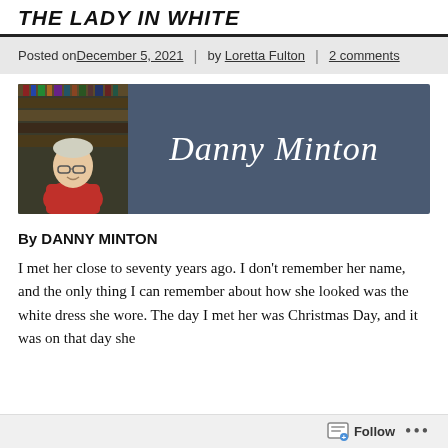THE LADY IN WHITE
Posted on December 5, 2021 | by Loretta Fulton | 2 comments
[Figure (photo): Banner image showing Danny Minton: a man in a red shirt with glasses sitting before bookshelves, with cursive text 'Danny Minton' on a dark blue-grey background.]
By DANNY MINTON
I met her close to seventy years ago. I don't remember her name, and the only thing I can remember about how she looked was the white dress she wore. The day I met her was Christmas Day, and it was on that day she